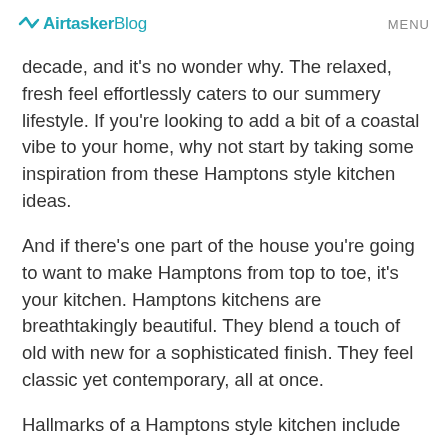Airtasker Blog  MENU
decade, and it’s no wonder why. The relaxed, fresh feel effortlessly caters to our summery lifestyle. If you’re looking to add a bit of a coastal vibe to your home, why not start by taking some inspiration from these Hamptons style kitchen ideas.
And if there’s one part of the house you’re going to want to make Hamptons from top to toe, it’s your kitchen. Hamptons kitchens are breathtakingly beautiful. They blend a touch of old with new for a sophisticated finish. They feel classic yet contemporary, all at once.
Hallmarks of a Hamptons style kitchen include